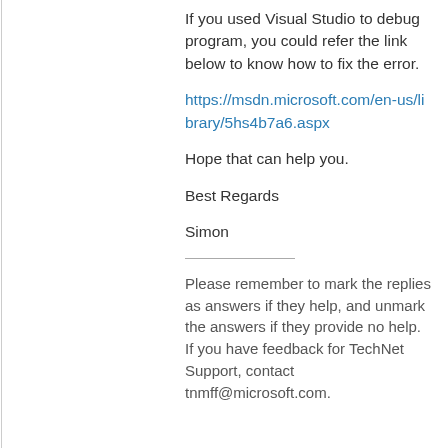If you used Visual Studio to debug program, you could refer the link below to know how to fix the error.
https://msdn.microsoft.com/en-us/library/5hs4b7a6.aspx
Hope that can help you.
Best Regards
Simon
Please remember to mark the replies as answers if they help, and unmark the answers if they provide no help. If you have feedback for TechNet Support, contact tnmff@microsoft.com.